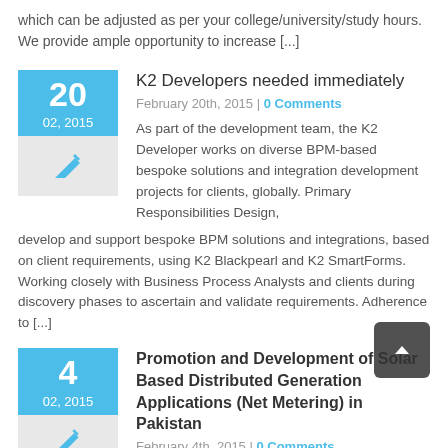which can be adjusted as per your college/university/study hours. We provide ample opportunity to increase [...]
K2 Developers needed immediately
February 20th, 2015 | 0 Comments
As part of the development team, the K2 Developer works on diverse BPM-based bespoke solutions and integration development projects for clients, globally. Primary Responsibilities Design, develop and support bespoke BPM solutions and integrations, based on client requirements, using K2 Blackpearl and K2 SmartForms. Working closely with Business Process Analysts and clients during discovery phases to ascertain and validate requirements. Adherence to [...]
Promotion and Development of Solar Based Distributed Generation Applications (Net Metering) in Pakistan
February 4th, 2015 | 0 Comments
Development of Alternative and Renewable